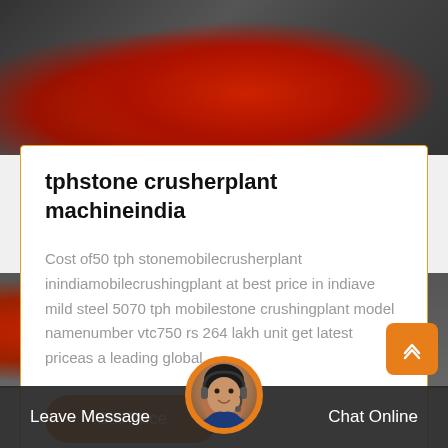[Figure (photo): Industrial machinery photo showing red/orange mechanical components against dark background]
tphstone crusherplant machineindia
Cost of50 tph stonemobilecrusherplant inindiamobilecrushingplant at best price in indiave mild steel 5070 tph mobilestone crushingplant model namenumber vtc750 rs 264 lakh unit get latest priceas a leading global…
[Figure (photo): Bottom banner photo of orange/red industrial crusher equipment]
Leave Message   Chat Online